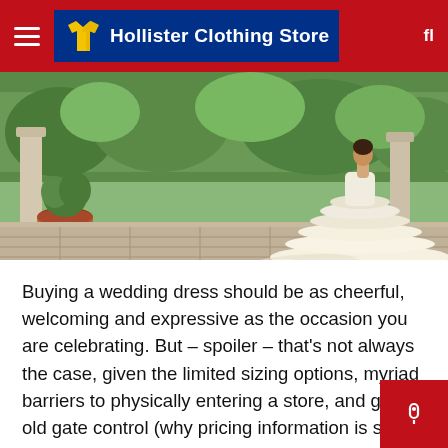Hollister Clothing Store
[Figure (photo): Outdoor garden scene with a person in a large, tiered white/cream wedding dress walking on stone steps, with terracotta pots, columns, and greenery in the background.]
Buying a wedding dress should be as cheerful, welcoming and expressive as the occasion you are celebrating. But – spoiler – that's not always the case, given the limited sizing options, myriad barriers to physically entering a store, and good old gate control (why pricing information is so hard to find?). But there is a group of innovative, creative and talented Asian American wedding designers who are changing the landscape of the industry